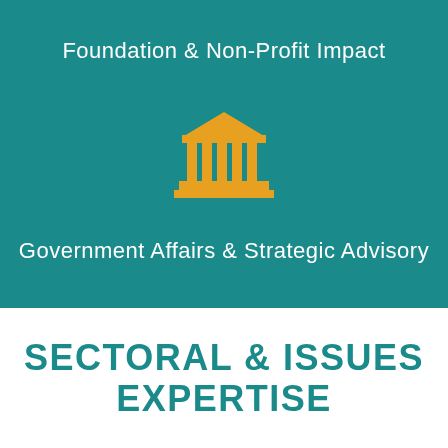Foundation & Non-Profit Impact
[Figure (illustration): Golden/orange government building / bank icon with columns and pediment on teal background]
Government Affairs & Strategic Advisory
SECTORAL & ISSUES EXPERTISE